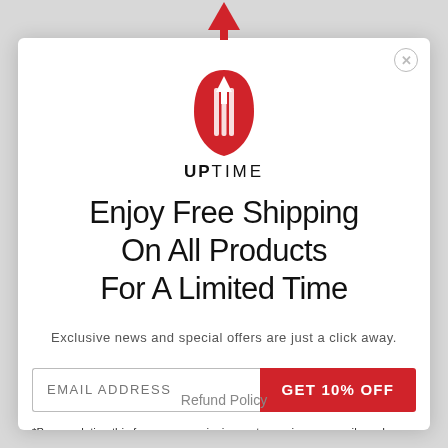[Figure (logo): UPTIME brand logo: red teardrop/shield shape with white vertical lines and upward arrow, text 'UPTIME' below in bold/light mixed caps]
Enjoy Free Shipping On All Products For A Limited Time
Exclusive news and special offers are just a click away.
EMAIL ADDRESS  |  GET 10% OFF (form row)
*By completing this form you are signing up to receive our emails and can unsubscribe at any time.
Refund Policy